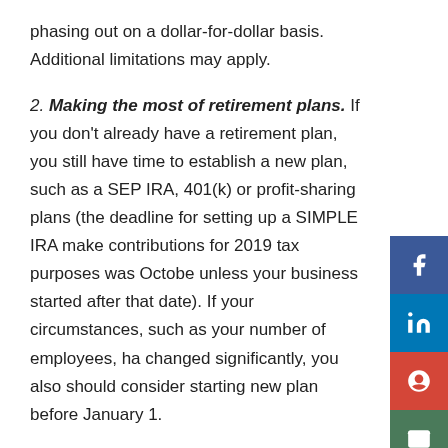phasing out on a dollar-for-dollar basis. Additional limitations may apply.
2. Making the most of retirement plans. If you don't already have a retirement plan, you still have time to establish a new plan, such as a SEP IRA, 401(k) or profit-sharing plans (the deadline for setting up a SIMPLE IRA make contributions for 2019 tax purposes was October unless your business started after that date). If your circumstances, such as your number of employees, have changed significantly, you also should consider starting a new plan before January 1.
Although retirement plans generally must be started before year-end, you usually can deduct any contributions